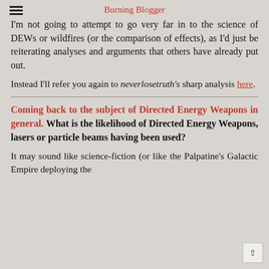Burning Blogger
I'm not going to attempt to go very far in to the science of DEWs or wildfires (or the comparison of effects), as I'd just be reiterating analyses and arguments that others have already put out.
Instead I'll refer you again to neverlosetruth's sharp analysis here.
Coming back to the subject of Directed Energy Weapons in general. What is the likelihood of Directed Energy Weapons, lasers or particle beams having been used?
It may sound like science-fiction (or like the Palpatine's Galactic Empire deploying the th